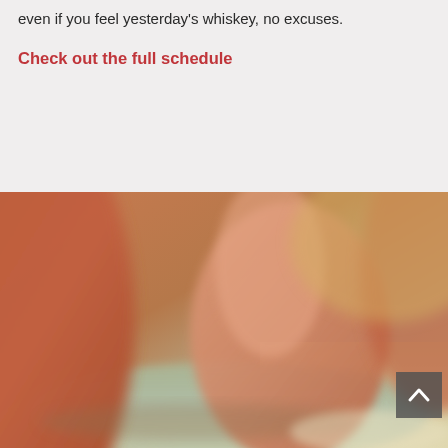even if you feel yesterday's whiskey, no excuses.
Check out the full schedule
[Figure (photo): Close-up blurred photo of bare human feet on a yoga mat or floor, warm terracotta/orange tones with soft focus, a scroll-to-top arrow button visible in the lower right corner.]